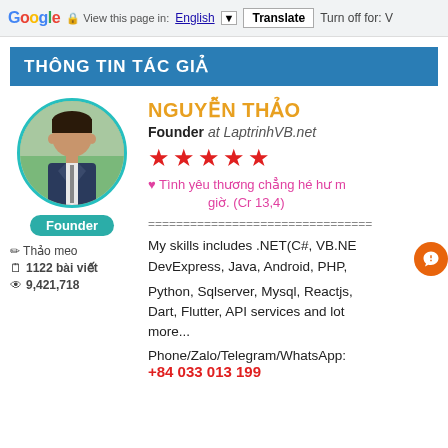Google  View this page in: English [▼]  Translate  Turn off for: V
THÔNG TIN TÁC GIẢ
[Figure (photo): Circular profile photo of Nguyễn Thảo, a man in a suit and tie, with a teal circular border]
Founder
✏ Thảo meo
🗒 1122 bài viết
👁 9,421,718
NGUYỄN THẢO
Founder at LaptrinhVB.net
★★★★★
♥ Tình yêu thương chẳng hé hư mất giờ. (Cr 13,4)
================================
My skills includes .NET(C#, VB.NET), DevExpress, Java, Android, PHP,
Python, Sqlserver, Mysql, Reactjs, Dart, Flutter, API services and lot more...
Phone/Zalo/Telegram/WhatsApp:
+84 033 013 199